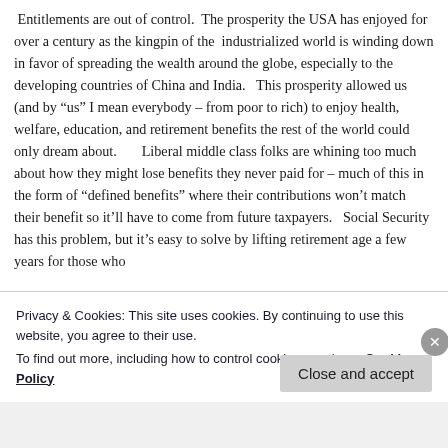Entitlements are out of control.  The prosperity the USA has enjoyed for over a century as the kingpin of the  industrialized world is winding down in favor of spreading the wealth around the globe, especially to the developing countries of China and India.   This prosperity allowed us (and by “us” I mean everybody – from poor to rich) to enjoy health, welfare, education, and retirement benefits the rest of the world could only dream about.       Liberal middle class folks are whining too much about how they might lose benefits they never paid for – much of this in the form of “defined benefits” where their contributions won’t match their benefit so it’ll have to come from future taxpayers.   Social Security has this problem, but it’s easy to solve by lifting retirement age a few years for those who
Privacy & Cookies: This site uses cookies. By continuing to use this website, you agree to their use.
To find out more, including how to control cookies, see here: Cookie Policy
Close and accept